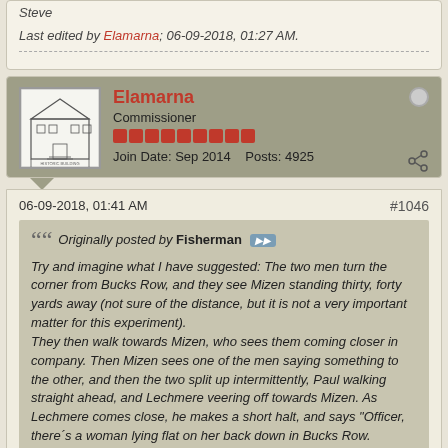Steve
Last edited by Elamarna; 06-09-2018, 01:27 AM.
[Figure (other): Forum user card for Elamarna: avatar (sketch of a building), username Elamarna (Commissioner), reputation bars, Join Date Sep 2014, Posts 4925, online dot, share icon]
06-09-2018, 01:41 AM   #1046
Originally posted by Fisherman
Try and imagine what I have suggested: The two men turn the corner from Bucks Row, and they see Mizen standing thirty, forty yards away (not sure of the distance, but it is not a very important matter for this experiment).
They then walk towards Mizen, who sees them coming closer in company. Then Mizen sees one of the men saying something to the other, and then the two split up intermittently, Paul walking straight ahead, and Lechmere veering off towards Mizen. As Lechmere comes close, he makes a short halt, and says "Officer, there´s a woman lying flat on her back down in Bucks Row. Another PC sent us here, me and my pal".